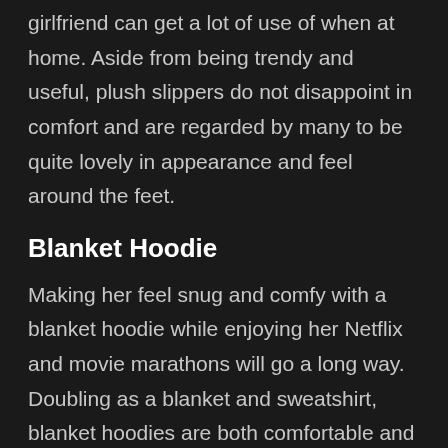girlfriend can get a lot of use of when at home. Aside from being trendy and useful, plush slippers do not disappoint in comfort and are regarded by many to be quite lovely in appearance and feel around the feet.
Blanket Hoodie
Making her feel snug and comfy with a blanket hoodie while enjoying her Netflix and movie marathons will go a long way. Doubling as a blanket and sweatshirt, blanket hoodies are both comfortable and functional since they come with pockets, a hoodie, and enough fabric to ensure a cozy experience.